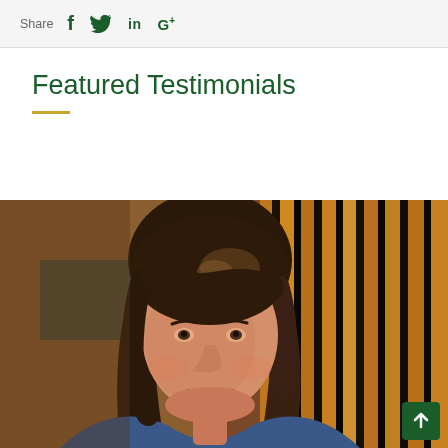Share  f  tw  in  G+
Featured Testimonials
[Figure (photo): Close-up portrait photo of a middle-aged woman with brown shoulder-length hair with highlights, smiling warmly. She is wearing a blue top. The background shows warm-toned curtains or fabric with vertical stripes in orange/brown and dark colors.]